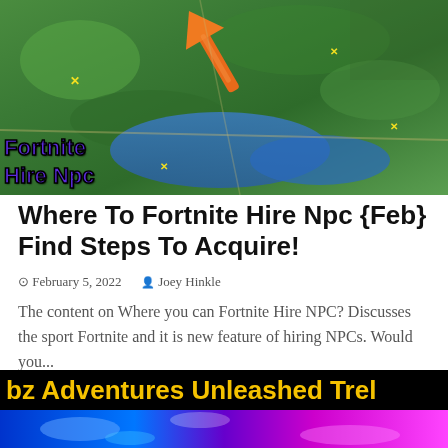[Figure (screenshot): Fortnite game map screenshot with orange arrow pointing upper right. Overlay text reads 'Fortnite Hire Npc' in purple/blue bold font.]
Where To Fortnite Hire Npc {Feb} Find Steps To Acquire!
February 5, 2022   Joey Hinkle
The content on Where you can Fortnite Hire NPC? Discusses the sport Fortnite and it is new feature of hiring NPCs. Would you...
[Figure (screenshot): Black banner with yellow bold text reading 'bz Adventures Unleashed Trel' and colorful image strip below.]